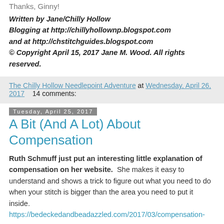Thanks, Ginny!
Written by Jane/Chilly Hollow
Blogging at http://chillyhollownp.blogspot.com
and at http://chstitchguides.blogspot.com
© Copyright April 15, 2017 Jane M. Wood. All rights reserved.
The Chilly Hollow Needlepoint Adventure at Wednesday, April 26, 2017   14 comments:
Tuesday, April 25, 2017
A Bit (And A Lot) About Compensation
Ruth Schmuff just put an interesting little explanation of compensation on her website.  She makes it easy to understand and shows a trick to figure out what you need to do when your stitch is bigger than the area you need to put it inside.
https://bedeckedandbeadazzled.com/2017/03/compensation-...